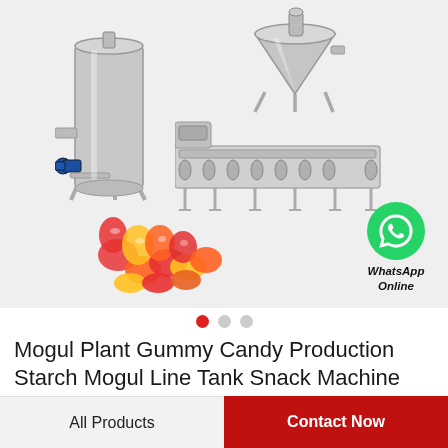[Figure (photo): Product image showing industrial candy making equipment: a tall stainless steel mixing tank with motor on left, a conical jacketed kettle on upper right, a long conveyor/starch mogul machine in center-right, colorful gummy candies in bottom-left, and a WhatsApp Online contact button with green icon on the right. Three slider navigation dots below the image area.]
Mogul Plant Gummy Candy Production Starch Mogul Line Tank Snack Machine
All Products | Contact Now